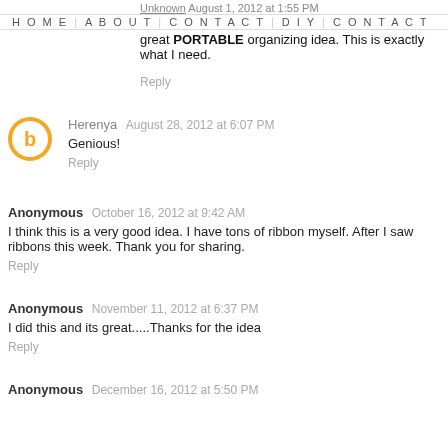Unknown August 1, 2012 at 1:55 PM
great PORTABLE organizing idea. This is exactly what I need.
Reply
Herenya  August 28, 2012 at 6:07 PM
Genious!
Reply
Anonymous  October 16, 2012 at 9:42 AM
I think this is a very good idea. I have tons of ribbon myself. After I saw ribbons this week. Thank you for sharing.
Reply
Anonymous  November 11, 2012 at 6:37 PM
I did this and its great.....Thanks for the idea
Reply
Anonymous  December 16, 2012 at 5:50 PM